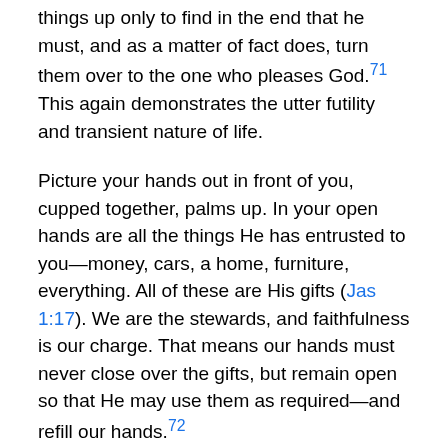things up only to find in the end that he must, and as a matter of fact does, turn them over to the one who pleases God.71 This again demonstrates the utter futility and transient nature of life.
Picture your hands out in front of you, cupped together, palms up. In your open hands are all the things He has entrusted to you—money, cars, a home, furniture, everything. All of these are His gifts (Jas 1:17). We are the stewards, and faithfulness is our charge. That means our hands must never close over the gifts, but remain open so that He may use them as required—and refill our hands.72
The main conclusion of Solomon's search is: Get satisfaction from God's gifts. Satisfaction is a gift from God, just like salvation. When we can take our education, our pleasure, our wisdom, and our work as gifts from God,